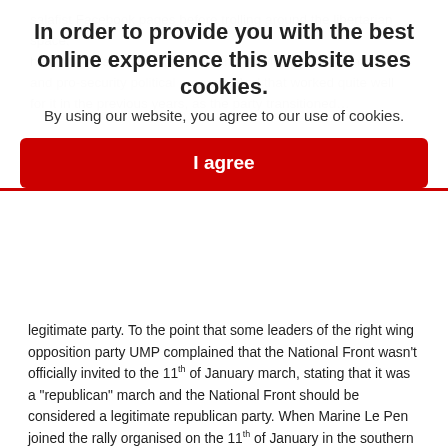...has built most of its support on an anti-Muslim, anti-immigrant and pro-security political program. And that worked quite well for it...transition from political outcasts to a nearly normalized legitimate party. To the point that some leaders of the right wing opposition party UMP complained that the National Front wasn't officially invited to the 11th of January march, stating that it was a "republican" march and the National Front should be considered a legitimate republican party. When Marine Le Pen joined the rally organised on the 11th of January in the southern town of Beaucaire which was won by the National Front during the 2014 March elections, she was acclaimed. She thanked the people gathered there "for being there to remind the freedom values" during the brief speech she gave from the balcony of the town hall on which floated a banner stating " I'm Charlie - Tribute to victims of Islamist terrorism".
In order to provide you with the best online experience this website uses cookies.
By using our website, you agree to our use of cookies.
I agree
Does French society have a distinctive problem with